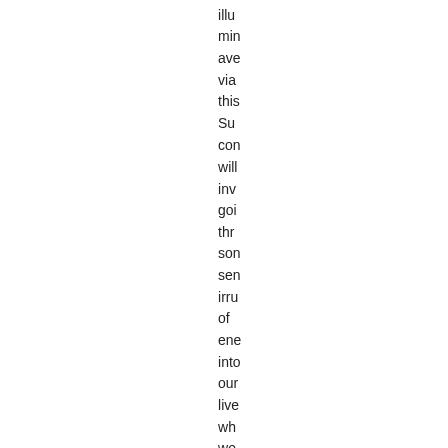illu
min
ave
via
this
Su
con
will
inv
goi
thr
son
sen
irru
of
ene
into
our
live
wh
we
allo
hea
Fin
to